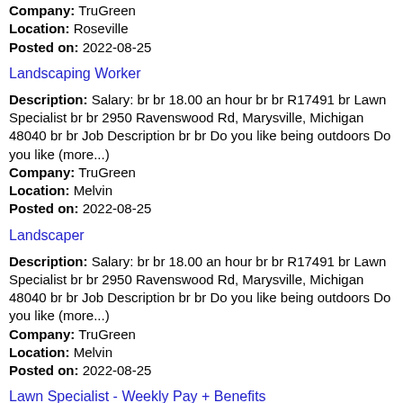Company: TruGreen
Location: Roseville
Posted on: 2022-08-25
Landscaping Worker
Description: Salary: br br 18.00 an hour br br R17491 br Lawn Specialist br br 2950 Ravenswood Rd, Marysville, Michigan 48040 br br Job Description br br Do you like being outdoors Do you like (more...)
Company: TruGreen
Location: Melvin
Posted on: 2022-08-25
Landscaper
Description: Salary: br br 18.00 an hour br br R17491 br Lawn Specialist br br 2950 Ravenswood Rd, Marysville, Michigan 48040 br br Job Description br br Do you like being outdoors Do you like (more...)
Company: TruGreen
Location: Melvin
Posted on: 2022-08-25
Lawn Specialist - Weekly Pay + Benefits
Description: Salary: br br 18.00 an hour br br R17491 br Lawn Specialist br br 2950 Ravenswood Rd, Marysville, Michigan 48040 br br Job Description br br Do you like being outdoors Do you like (more...)